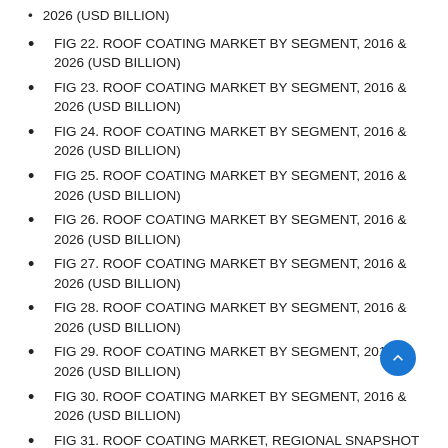2026 (USD BILLION)
FIG 22. ROOF COATING MARKET BY SEGMENT, 2016 & 2026 (USD BILLION)
FIG 23. ROOF COATING MARKET BY SEGMENT, 2016 & 2026 (USD BILLION)
FIG 24. ROOF COATING MARKET BY SEGMENT, 2016 & 2026 (USD BILLION)
FIG 25. ROOF COATING MARKET BY SEGMENT, 2016 & 2026 (USD BILLION)
FIG 26. ROOF COATING MARKET BY SEGMENT, 2016 & 2026 (USD BILLION)
FIG 27. ROOF COATING MARKET BY SEGMENT, 2016 & 2026 (USD BILLION)
FIG 28. ROOF COATING MARKET BY SEGMENT, 2016 & 2026 (USD BILLION)
FIG 29. ROOF COATING MARKET BY SEGMENT, 2016 & 2026 (USD BILLION)
FIG 30. ROOF COATING MARKET BY SEGMENT, 2016 & 2026 (USD BILLION)
FIG 31. ROOF COATING MARKET, REGIONAL SNAPSHOT